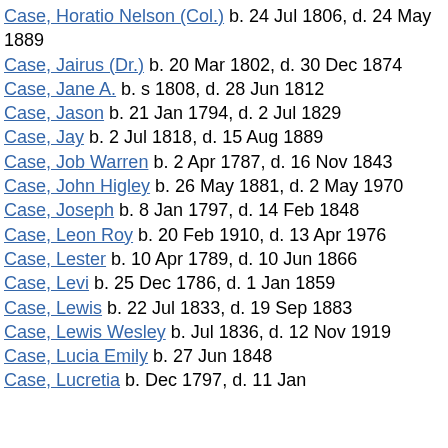Case, Horatio Nelson (Col.)  b. 24 Jul 1806, d. 24 May 1889
Case, Jairus (Dr.)  b. 20 Mar 1802, d. 30 Dec 1874
Case, Jane A.  b. s 1808, d. 28 Jun 1812
Case, Jason  b. 21 Jan 1794, d. 2 Jul 1829
Case, Jay  b. 2 Jul 1818, d. 15 Aug 1889
Case, Job Warren  b. 2 Apr 1787, d. 16 Nov 1843
Case, John Higley  b. 26 May 1881, d. 2 May 1970
Case, Joseph  b. 8 Jan 1797, d. 14 Feb 1848
Case, Leon Roy  b. 20 Feb 1910, d. 13 Apr 1976
Case, Lester  b. 10 Apr 1789, d. 10 Jun 1866
Case, Levi  b. 25 Dec 1786, d. 1 Jan 1859
Case, Lewis  b. 22 Jul 1833, d. 19 Sep 1883
Case, Lewis Wesley  b. Jul 1836, d. 12 Nov 1919
Case, Lucia Emily  b. 27 Jun 1848
Case, Lucretia  b. Dec 1797, d. 11 Jan